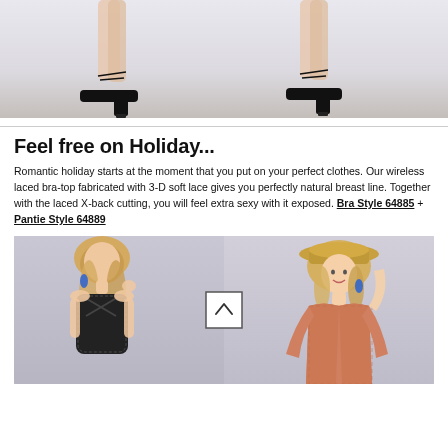[Figure (photo): Two fashion model photos showing legs and high-heeled shoes side by side against a light grey background]
Feel free on Holiday...
Romantic holiday starts at the moment that you put on your perfect clothes. Our wireless laced bra-top fabricated with 3-D soft lace gives you perfectly natural breast line. Together with the laced X-back cutting, you will feel extra sexy with it exposed. Bra Style 64885 + Pantie Style 64889
[Figure (photo): Two young blonde female models posing in summer/holiday outfits. Left model wears a black lace bralette, right model wears a peach/coral kimono-style top and straw hat. A scroll-up arrow button overlay is visible in the center.]